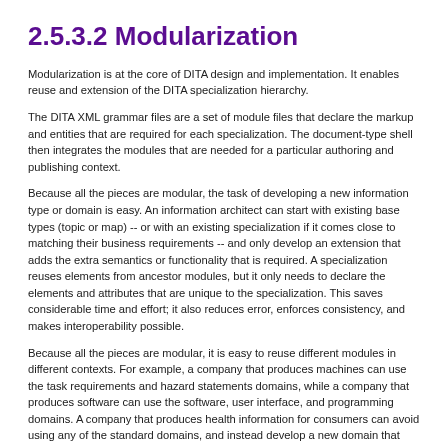2.5.3.2 Modularization
Modularization is at the core of DITA design and implementation. It enables reuse and extension of the DITA specialization hierarchy.
The DITA XML grammar files are a set of module files that declare the markup and entities that are required for each specialization. The document-type shell then integrates the modules that are needed for a particular authoring and publishing context.
Because all the pieces are modular, the task of developing a new information type or domain is easy. An information architect can start with existing base types (topic or map) -- or with an existing specialization if it comes close to matching their business requirements -- and only develop an extension that adds the extra semantics or functionality that is required. A specialization reuses elements from ancestor modules, but it only needs to declare the elements and attributes that are unique to the specialization. This saves considerable time and effort; it also reduces error, enforces consistency, and makes interoperability possible.
Because all the pieces are modular, it is easy to reuse different modules in different contexts. For example, a company that produces machines can use the task requirements and hazard statements domains, while a company that produces software can use the software, user interface, and programming domains. A company that produces health information for consumers can avoid using any of the standard domains, and instead develop a new domain that contains the elements necessary for capturing and tracking the comments made